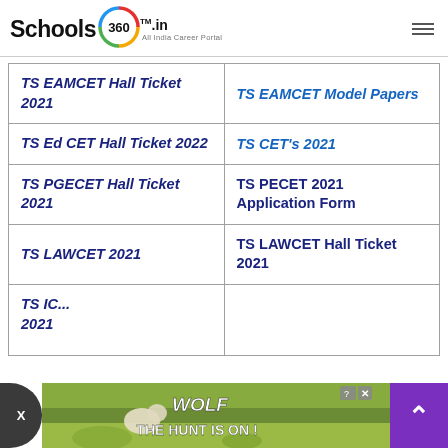Schools 360 .in — All India Career Portal
| TS EAMCET Hall Ticket 2021 | TS EAMCET Model Papers |
| TS Ed CET Hall Ticket 2022 | TS CET's 2021 |
| TS PGECET Hall Ticket 2021 | TS PECET 2021 Application Form |
| TS LAWCET 2021 | TS LAWCET Hall Ticket 2021 |
| TS ICET Hall Ticket 2021 | TS ICET ... 1 |
[Figure (screenshot): Advertisement banner for 'Wolf - The Hunt Is On!' game/app with wolves and landscape imagery]